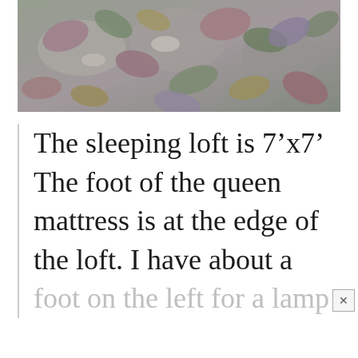[Figure (photo): Close-up photo of a colorful floral quilt/comforter on a bed, showing petals in shades of pink, lavender, green, and yellow on a white background.]
The sleeping loft is 7’x7’ The foot of the queen mattress is at the edge of the loft. I have about a foot on the left for a lamp